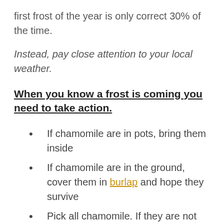first frost of the year is only correct 30% of the time.
Instead, pay close attention to your local weather.
When you know a frost is coming you need to take action.
If chamomile are in pots, bring them inside
If chamomile are in the ground, cover them in burlap and hope they survive
Pick all chamomile. If they are not ready,